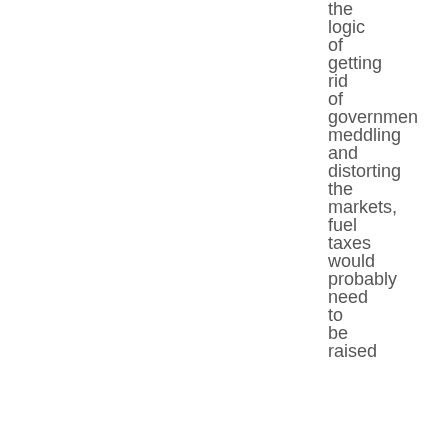the logic of getting rid of government meddling and distorting the markets, fuel taxes would probably need to be raised